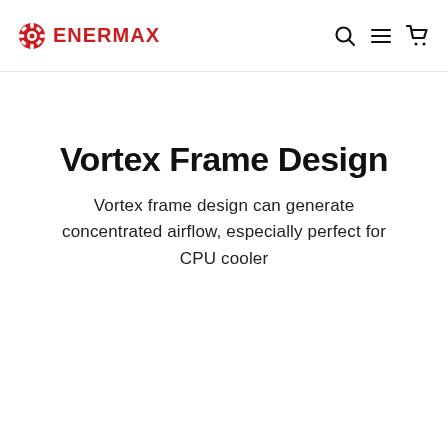ENERMAX
Vortex Frame Design
Vortex frame design can generate concentrated airflow, especially perfect for CPU cooler